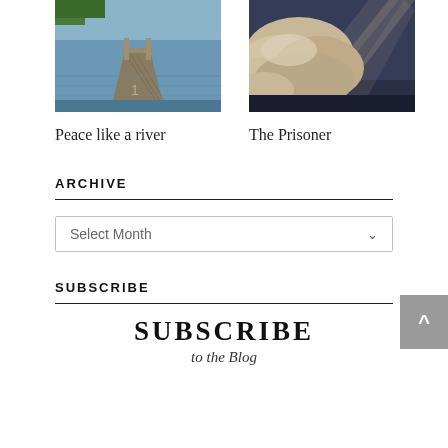[Figure (photo): Photo of a wooden dock/pier extending over calm blue water with trees in background]
Peace like a river
[Figure (photo): Photo of dramatic clouds with light rays breaking through dark sky]
The Prisoner
ARCHIVE
Select Month
SUBSCRIBE
SUBSCRIBE
to the Blog